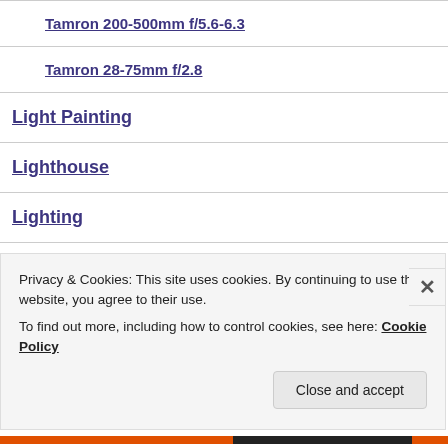Tamron 200-500mm f/5.6-6.3
Tamron 28-75mm f/2.8
Light Painting
Lighthouse
Lighting
Canon 430ex II
Privacy & Cookies: This site uses cookies. By continuing to use this website, you agree to their use.
To find out more, including how to control cookies, see here: Cookie Policy